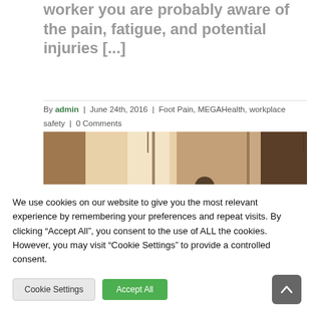worker you are probably aware of the pain, fatigue, and potential injuries [...]
By admin | June 24th, 2016 | Foot Pain, MEGAHealth, workplace safety | 0 Comments
Read More >
[Figure (photo): Interior photo showing a person from behind near glass panels or partitions in what appears to be an office or retail setting, with warm lighting]
We use cookies on our website to give you the most relevant experience by remembering your preferences and repeat visits. By clicking "Accept All", you consent to the use of ALL the cookies. However, you may visit "Cookie Settings" to provide a controlled consent.